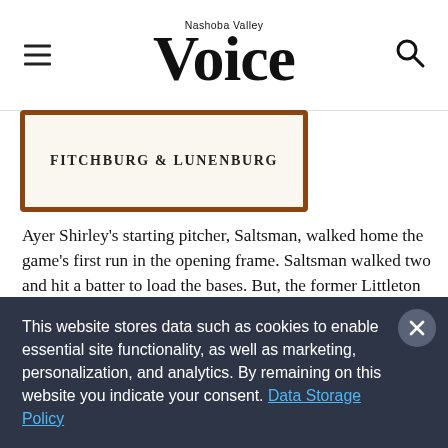Nashoba Valley Voice
[Figure (illustration): Partial view of a newspaper/advertisement image showing 'FITCHBURG & LUNENBURG' text in a brown/orange bordered box]
Ayer Shirley's starting pitcher, Saltsman, walked home the game's first run in the opening frame. Saltsman walked two and hit a batter to load the bases. But, the former Littleton High standout managed to mitigate the damage. He induced a groundout to Jerry Richards and fanned Kay to end the inning trailing 1-0.
The Panthers equalized on a rocket up the middle by
This website stores data such as cookies to enable essential site functionality, as well as marketing, personalization, and analytics. By remaining on this website you indicate your consent. Data Storage Policy